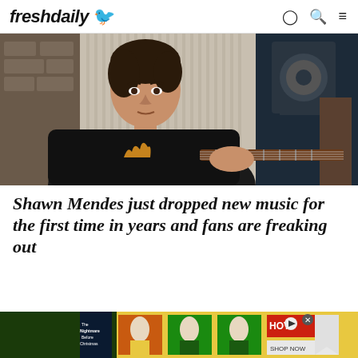freshdaily
[Figure (photo): Young man in black sleeveless shirt playing guitar in a recording studio with speakers in background]
Shawn Mendes just dropped new music for the first time in years and fans are freaking out
[Figure (photo): Bottom strip showing partial second article image and advertisement banner]